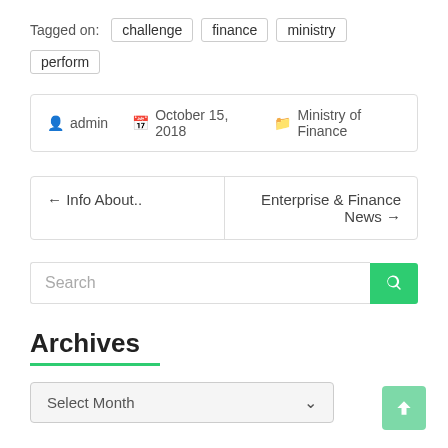Tagged on: challenge  finance  ministry  perform
admin  October 15, 2018  Ministry of Finance
← Info About..  Enterprise & Finance News →
Search
Archives
Select Month
Recent Posts
Motorized Vehicle  August 16, 2022